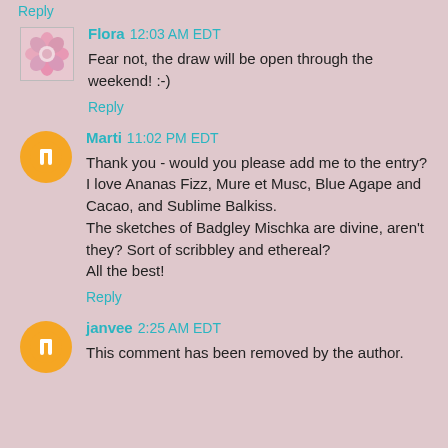Reply
Flora 12:03 AM EDT
Fear not, the draw will be open through the weekend! :-)
Reply
Marti 11:02 PM EDT
Thank you - would you please add me to the entry?
I love Ananas Fizz, Mure et Musc, Blue Agape and Cacao, and Sublime Balkiss.
The sketches of Badgley Mischka are divine, aren't they? Sort of scribbley and ethereal?
All the best!
Reply
janvee 2:25 AM EDT
This comment has been removed by the author.